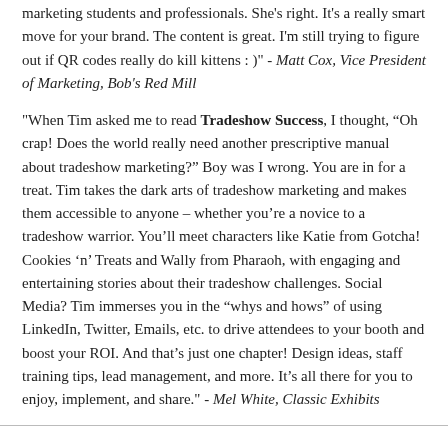marketing students and professionals. She's right. It's a really smart move for your brand. The content is great. I'm still trying to figure out if QR codes really do kill kittens : )" - Matt Cox, Vice President of Marketing, Bob's Red Mill
"When Tim asked me to read Tradeshow Success, I thought, “Oh crap! Does the world really need another prescriptive manual about tradeshow marketing?” Boy was I wrong. You are in for a treat. Tim takes the dark arts of tradeshow marketing and makes them accessible to anyone – whether you’re a novice to a tradeshow warrior. You’ll meet characters like Katie from Gotcha! Cookies ‘n’ Treats and Wally from Pharaoh, with engaging and entertaining stories about their tradeshow challenges. Social Media? Tim immerses you in the “whys and hows” of using LinkedIn, Twitter, Emails, etc. to drive attendees to your booth and boost your ROI. And that’s just one chapter! Design ideas, staff training tips, lead management, and more. It’s all there for you to enjoy, implement, and share." - Mel White, Classic Exhibits